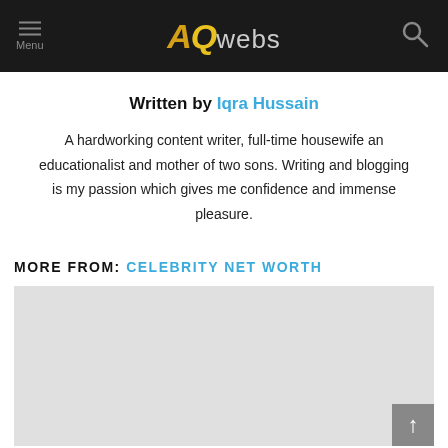AQwebs — Menu / Search header
Written by Iqra Hussain
A hardworking content writer, full-time housewife an educationalist and mother of two sons. Writing and blogging is my passion which gives me confidence and immense pleasure.
MORE FROM: CELEBRITY NET WORTH
[Figure (other): Gray placeholder content area with a back-to-top button in the bottom right corner]